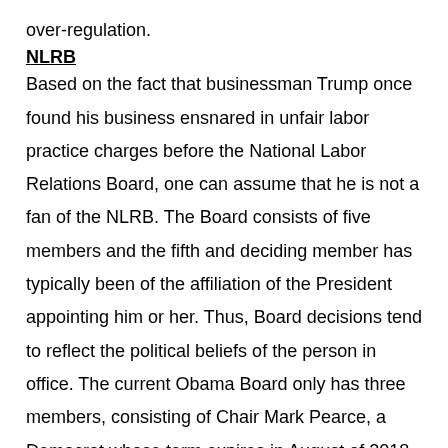over-regulation.
NLRB
Based on the fact that businessman Trump once found his business ensnared in unfair labor practice charges before the National Labor Relations Board, one can assume that he is not a fan of the NLRB. The Board consists of five members and the fifth and deciding member has typically been of the affiliation of the President appointing him or her. Thus, Board decisions tend to reflect the political beliefs of the person in office. The current Obama Board only has three members, consisting of Chair Mark Pearce, a Democrat whose term expires in August of 2018, Member Philip